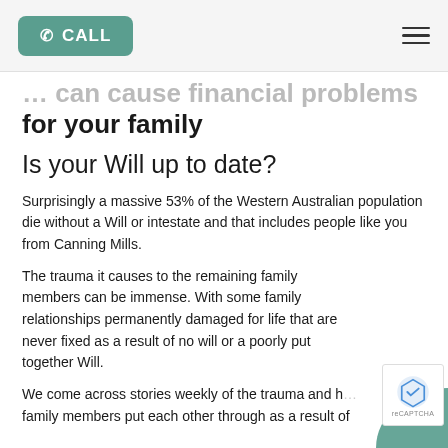CALL (navigation header with call button and hamburger menu)
… can cause financial problems for your family
Is your Will up to date?
Surprisingly a massive 53% of the Western Australian population die without a Will or intestate and that includes people like you from Canning Mills.
The trauma it causes to the remaining family members can be immense. With some family relationships permanently damaged for life that are never fixed as a result of no will or a poorly put together Will.
We come across stories weekly of the trauma and how family members put each other through as a result of…